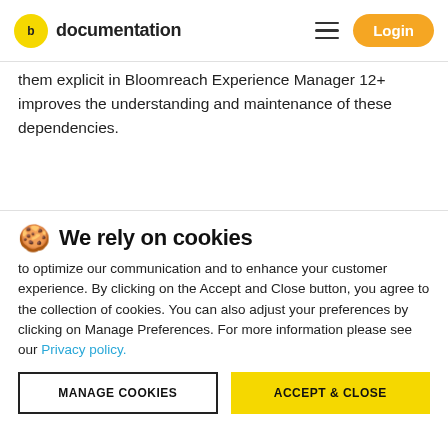documentation  Login
them explicit in Bloomreach Experience Manager 12+ improves the understanding and maintenance of these dependencies.
🍪 We rely on cookies
to optimize our communication and to enhance your customer experience. By clicking on the Accept and Close button, you agree to the collection of cookies. You can also adjust your preferences by clicking on Manage Preferences. For more information please see our Privacy policy.
MANAGE COOKIES   ACCEPT & CLOSE